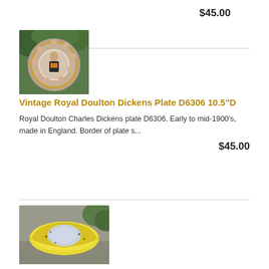$45.00
[Figure (photo): Vintage Royal Doulton Dickens plate D6306 with portrait center and character portraits around border, photographed outdoors against green foliage]
Vintage Royal Doulton Dickens Plate D6306 10.5"D
Royal Doulton Charles Dickens plate D6306. Early to mid-1900's, made in England. Border of plate s...
$45.00
[Figure (photo): Vintage Indiana Artura Art Deco Glass Floral piece, yellow glass ashtray or dish photographed on stone surface outdoors]
Vintage Indiana Artura Art Deco Glass Floral